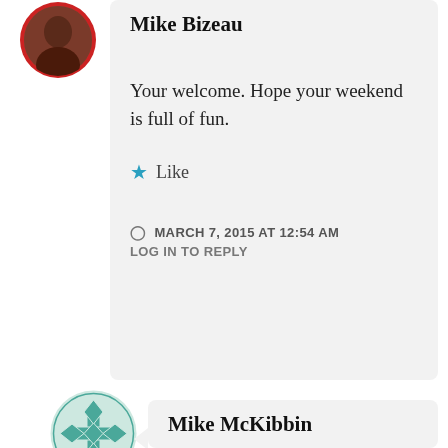[Figure (photo): Circular avatar photo of Mike Bizeau with red border, partially cropped at top]
Mike Bizeau
Your welcome. Hope your weekend is full of fun.
★ Like
MARCH 7, 2015 AT 12:54 AM
LOG IN TO REPLY
[Figure (illustration): Circular avatar with teal geometric floral pattern for Mike McKibbin]
Mike McKibbin
Really enjoy your photos